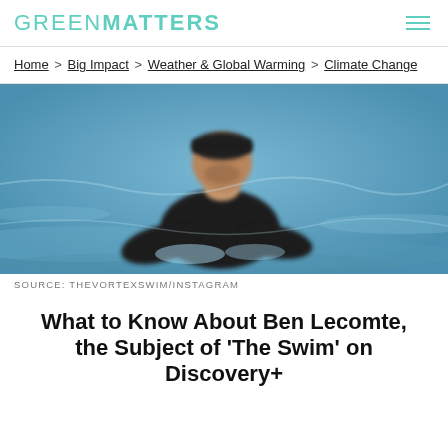GREENMATTERS
Home > Big Impact > Weather & Global Warming > Climate Change
[Figure (photo): A man swimming in the ocean wearing a black wetsuit and cap, with blue water visible around him.]
SOURCE: THEVORTEXSWIM/INSTAGRAM
What to Know About Ben Lecomte, the Subject of 'The Swim' on Discovery+